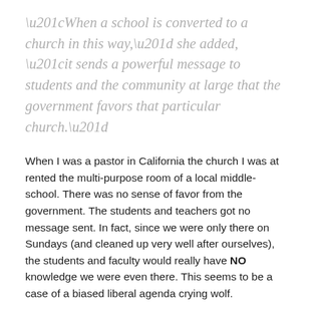“When a school is converted to a church in this way,” she added, “it sends a powerful message to students and the community at large that the government favors that particular church.”
When I was a pastor in California the church I was at rented the multi-purpose room of a local middle-school. There was no sense of favor from the government. The students and teachers got no message sent. In fact, since we were only there on Sundays (and cleaned up very well after ourselves), the students and faculty would really have NO knowledge we were even there. This seems to be a case of a biased liberal agenda crying wolf.
But even if this legislation stays and Christian organizations are removed from utilizing public school